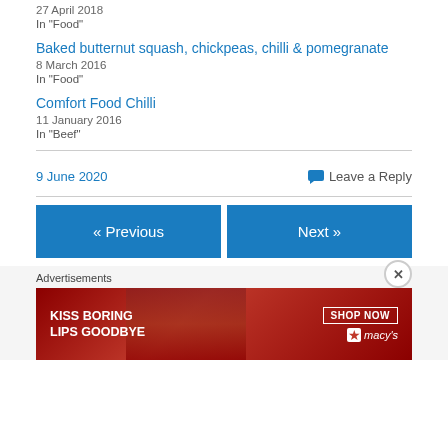27 April 2018
In "Food"
Baked butternut squash, chickpeas, chilli & pomegranate
8 March 2016
In "Food"
Comfort Food Chilli
11 January 2016
In "Beef"
9 June 2020
Leave a Reply
« Previous
Next »
Advertisements
[Figure (illustration): Macy's advertisement banner: KISS BORING LIPS GOODBYE with SHOP NOW button and Macy's star logo, dark red/maroon background with woman's face]